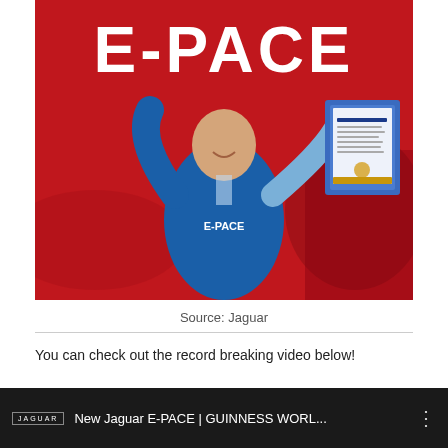[Figure (photo): A man in a blue and white Jaguar E-PACE racing suit celebrates with fists raised, holding a Guinness World Records certificate, standing in front of a red Jaguar E-PACE car with large E-PACE branding visible on red background.]
Source: Jaguar
You can check out the record breaking video below!
[Figure (screenshot): YouTube video thumbnail with black background showing Jaguar logo and text: New Jaguar E-PACE | GUINNESS WORL... with a vertical dots menu icon on the right.]